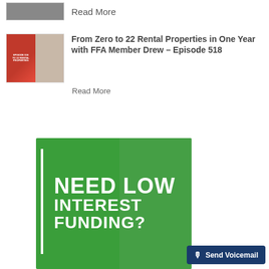Read More
From Zero to 22 Rental Properties in One Year with FFA Member Drew – Episode 518
Read More
[Figure (infographic): Green promotional banner with bold white text reading NEED LOW INTEREST FUNDING? with a white vertical bar on the left and a background image of hands holding money]
Send Voicemail